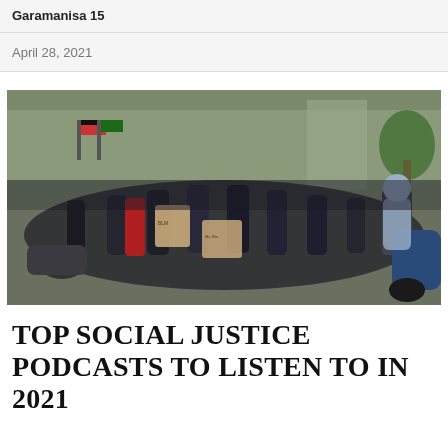Garamanisa 15
April 28, 2021
[Figure (photo): A large crowd of protesters marching down a city street, many wearing masks and holding cardboard protest signs. Some are on motorcycles. Trees and buildings visible in background.]
TOP SOCIAL JUSTICE PODCASTS TO LISTEN TO IN 2021